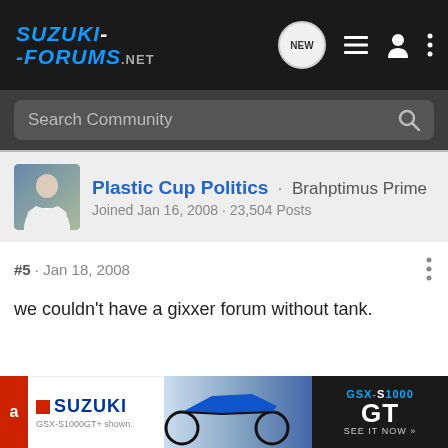SUZUKI-FORUMS.NET
Search Community
Plastic Cup Politics · Brahptimus Prime
Joined Jan 16, 2008 · 23,504 Posts
#5 · Jan 18, 2008
we couldn't have a gixxer forum without tank.
[Figure (screenshot): Suzuki GSX-S1000 GT advertisement banner at the bottom of the page]